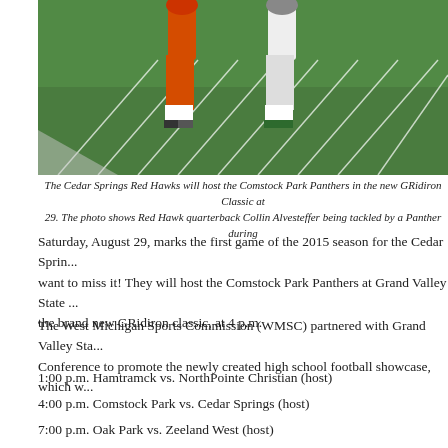[Figure (photo): Football players on a green turf field, showing legs of players in action - one in orange jersey, one in white with green cleats. White yard lines visible on the turf.]
The Cedar Springs Red Hawks will host the Comstock Park Panthers in the new GRidiron Classic at ... 29. The photo shows Red Hawk quarterback Collin Alvesteffer being tackled by a Panther during...
Saturday, August 29, marks the first game of the 2015 season for the Cedar Sprin... want to miss it! They will host the Comstock Park Panthers at Grand Valley State ... the brand new GRidiron classic, at 4 p.m.
The West Michigan Sports Commission (WMSC) partnered with Grand Valley Sta... Conference to promote the newly created high school football showcase, which w...
1:00 p.m. Hamtramck vs. NorthPointe Christian (host)
4:00 p.m. Comstock Park vs. Cedar Springs (host)
7:00 p.m. Oak Park vs. Zeeland West (host)
"West Michigan prides itself in our high school football and this event will highlight...